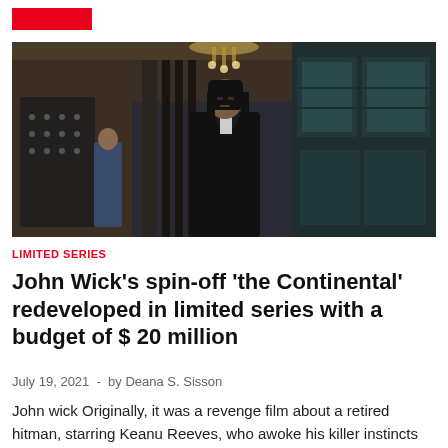[Figure (photo): Man in black suit standing in ornate interior with chandelier and decorative woodwork, another person visible in background]
LIMITED SERIES
John Wick's spin-off 'the Continental' redeveloped in limited series with a budget of $ 20 million
July 19, 2021  -  by Deana S. Sisson
John wick Originally, it was a revenge film about a retired hitman, starring Keanu Reeves, who awoke his killer instincts after his dog was murdered, but it has since